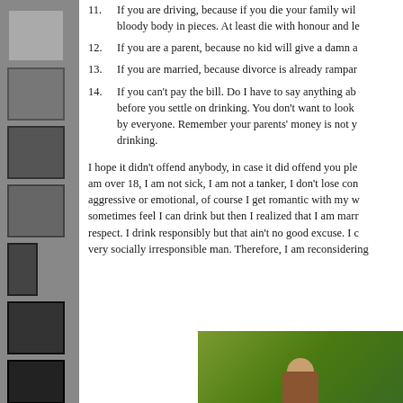11. If you are driving, because if you die your family will bloody body in pieces. At least die with honour and le
12. If you are a parent, because no kid will give a damn a
13. If you are married, because divorce is already rampar
14. If you can't pay the bill. Do I have to say anything ab before you settle on drinking. You don't want to look by everyone. Remember your parents' money is not y drinking.
I hope it didn't offend anybody, in case it did offend you ple am over 18, I am not sick, I am not a tanker, I don't lose con aggressive or emotional, of course I get romantic with my w sometimes feel I can drink but then I realized that I am marr respect. I drink responsibly but that ain't no good excuse. I c very socially irresponsible man. Therefore, I am reconsidering
[Figure (photo): A photograph of a person in front of a green/yellow-green wall background, partially visible at bottom right of the page.]